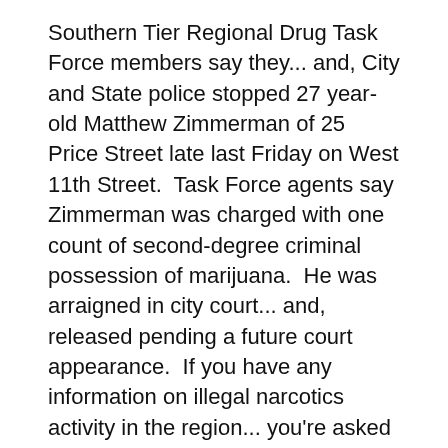Southern Tier Regional Drug Task Force members say they... and, City and State police stopped 27 year-old Matthew Zimmerman of 25 Price Street late last Friday on West 11th Street.  Task Force agents say Zimmerman was charged with one count of second-degree criminal possession of marijuana.  He was arraigned in city court... and, released pending a future court appearance.  If you have any information on illegal narcotics activity in the region... you're asked to call the Task Force at 1-800-344-8702.
With measles cases on the rise across the nation... health officials are urging New Yorkers to make sure they are properly vaccinated.  Chautauqua County's Director of Health and Human Services Christine Schuyler says while there have been 29 cases across the state, none have been reported locally. But... Schuyler says it's still important people make sure their vaccinations are up to date, including children. The next step from here...